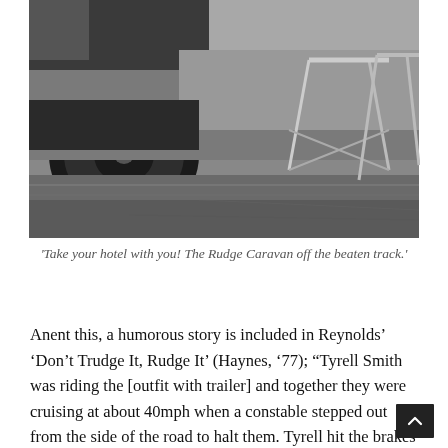[Figure (photo): A black and white photograph showing what appears to be a caravan or trailer setup outdoors, with a large wheel visible on the left, a folding table or camp furniture on the right, and overgrown vegetation or hedgerows in the background.]
'Take your hotel with you! The Rudge Caravan off the beaten track.'
Anent this, a humorous story is included in Reynolds' 'Don't Trudge It, Rudge It' (Haynes, '77); "Tyrell Smith was riding the [outfit with trailer] and together they were cruising at about 40mph when a constable stepped out from the side of the road to halt them. Tyrell hit the brakes hard but there no chance of stopping the outfit in a hurry and it sailed on